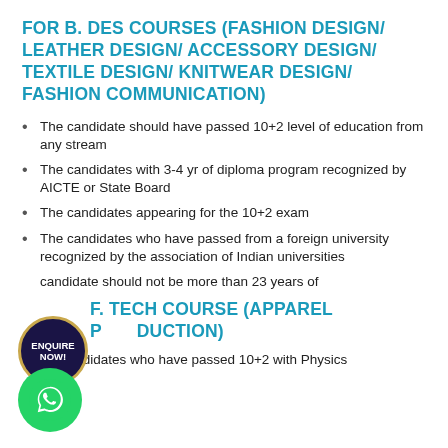FOR B. DES COURSES (FASHION DESIGN/ LEATHER DESIGN/ ACCESSORY DESIGN/ TEXTILE DESIGN/ KNITWEAR DESIGN/ FASHION COMMUNICATION)
The candidate should have passed 10+2 level of education from any stream
The candidates with 3-4 yr of diploma program recognized by AICTE or State Board
The candidates appearing for the 10+2 exam
The candidates who have passed from a foreign university recognized by the association of Indian universities
candidate should not be more than 23 years of
FOR F. TECH COURSE (APPAREL PRODUCTION)
Candidates who have passed 10+2 with Physics